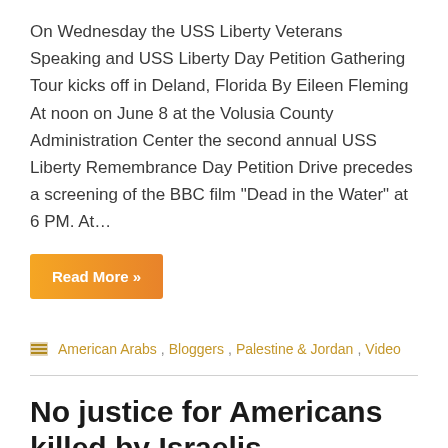On Wednesday the USS Liberty Veterans Speaking and USS Liberty Day Petition Gathering Tour kicks off in Deland, Florida By Eileen Fleming At noon on June 8 at the Volusia County Administration Center the second annual USS Liberty Remembrance Day Petition Drive precedes a screening of the BBC film “Dead in the Water” at 6 PM. At…
Read More »
American Arabs, Bloggers, Palestine & Jordan, Video
No justice for Americans killed by Israelis
June 1, 2016  raybanania  1 Comment